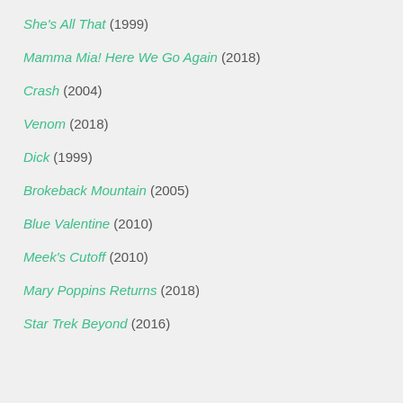She's All That (1999)
Mamma Mia! Here We Go Again (2018)
Crash (2004)
Venom (2018)
Dick (1999)
Brokeback Mountain (2005)
Blue Valentine (2010)
Meek's Cutoff (2010)
Mary Poppins Returns (2018)
Star Trek Beyond (2016)